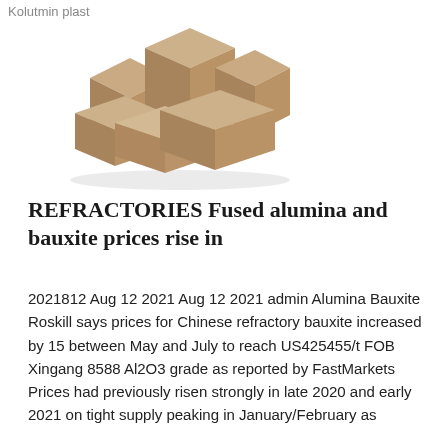Kolutmin plast
[Figure (photo): Photograph of refractory bricks — several tan/beige colored rectangular brick blocks arranged in a group]
REFRACTORIES Fused alumina and bauxite prices rise in
2021812 Aug 12 2021 Aug 12 2021 admin Alumina Bauxite Roskill says prices for Chinese refractory bauxite increased by 15 between May and July to reach US425455/t FOB Xingang 8588 Al2O3 grade as reported by FastMarkets Prices had previously risen strongly in late 2020 and early 2021 on tight supply peaking in January/February as